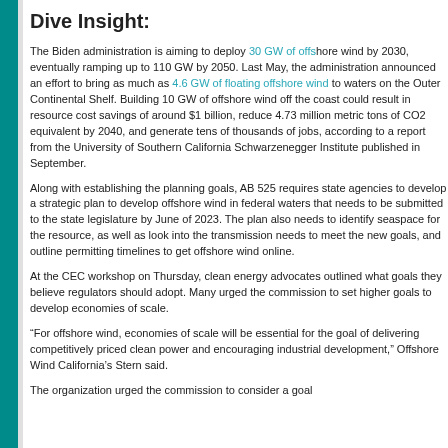Dive Insight:
The Biden administration is aiming to deploy 30 GW of offshore wind by 2030, eventually ramping up to 110 GW by 2050. Last May, the administration announced an effort to bring as much as 4.6 GW of floating offshore wind to waters on the Outer Continental Shelf. Building 10 GW of offshore wind off the California coast could result in resource cost savings of around $1 billion, reduce 4.73 million metric tons of CO2 equivalent by 2040, and generate tens of thousands of jobs, according to a report from the University of Southern California Schwarzenegger Institute published in September.
Along with establishing the planning goals, AB 525 requires state agencies to develop a strategic plan to develop offshore wind in federal waters that needs to be submitted to the state legislature by June of 2023. The plan also needs to identify seaspace for the resource, as well as look into the transmission needs to meet the new goals, and outline permitting timelines to get offshore wind online.
At the CEC workshop on Thursday, clean energy advocates outlined what goals they believe regulators should adopt. Many urged the commission to set higher goals to develop economies of scale.
“For offshore wind, economies of scale will be essential for the goal of delivering competitively priced clean power and encouraging industrial development,” Offshore Wind California’s Stern said.
The organization urged the commission to consider a goal